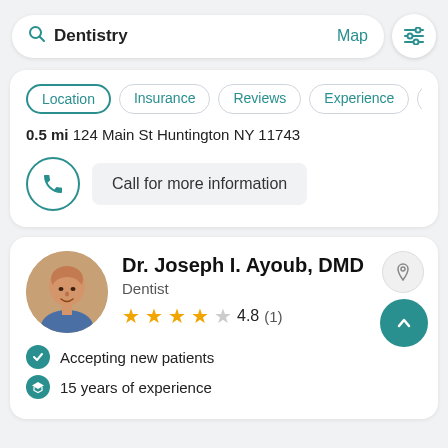[Figure (screenshot): Search bar with 'Dentistry' text, Map link, and filter icon]
Location  Insurance  Reviews  Experience  Abo
0.5 mi 124 Main St Huntington NY 11743
Call for more information
Dr. Joseph I. Ayoub, DMD
Dentist
4.8 (1)
Accepting new patients
15 years of experience